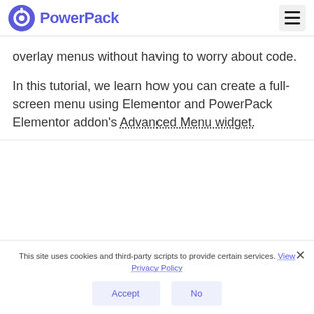PowerPack
overlay menus without having to worry about code.

In this tutorial, we learn how you can create a full-screen menu using Elementor and PowerPack Elementor addon's Advanced Menu widget.
This site uses cookies and third-party scripts to provide certain services. View Privacy Policy
Accept  No